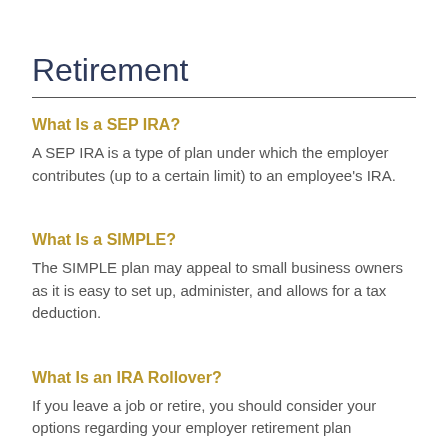Retirement
What Is a SEP IRA?
A SEP IRA is a type of plan under which the employer contributes (up to a certain limit) to an employee's IRA.
What Is a SIMPLE?
The SIMPLE plan may appeal to small business owners as it is easy to set up, administer, and allows for a tax deduction.
What Is an IRA Rollover?
If you leave a job or retire, you should consider your options regarding your employer retirement plan